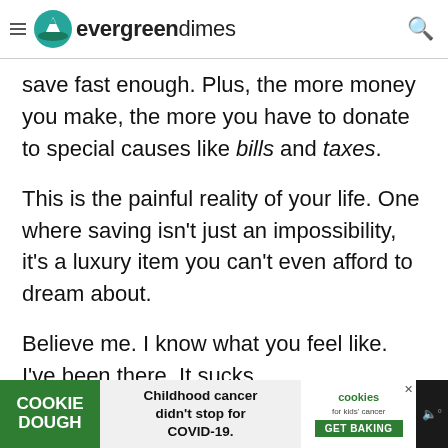evergreendimes
save fast enough. Plus, the more money you make, the more you have to donate to special causes like bills and taxes.
This is the painful reality of your life. One where saving isn't just an impossibility, it's a luxury item you can't even afford to dream about.
Believe me. I know what you feel like. I've been there. It sucks.
[Figure (screenshot): Advertisement banner at the bottom: Cookie Dough ad with 'Childhood cancer didn't stop for COVID-19.' and 'cookies for kids cancer GET BAKING' branding.]